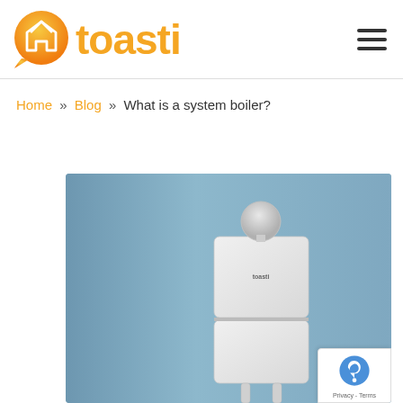[Figure (logo): Toasti logo with orange gradient house icon and orange 'toasti' text]
Home » Blog » What is a system boiler?
[Figure (photo): White system boiler unit mounted on a blue wall, with pipes at the bottom and a circular expansion vessel on top. The boiler has a 'toasti' label on its front panel.]